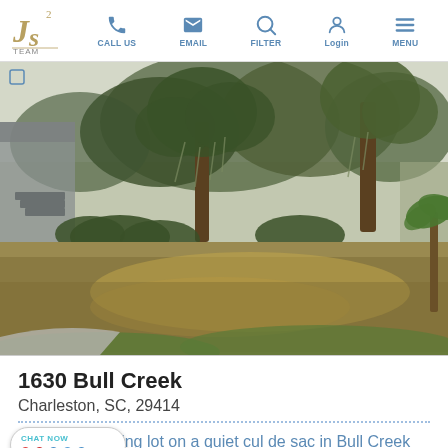JS Team | CALL US | EMAIL | FILTER | Login | MENU
[Figure (photo): Outdoor photo of a vacant building lot with dry grass, large oak trees with Spanish moss, shrubs, and a concrete driveway curb in the foreground. A house structure is partially visible on the left side.]
1630 Bull Creek
Charleston, SC, 29414
Fantastic building lot on a quiet cul de sac in Bull Creek